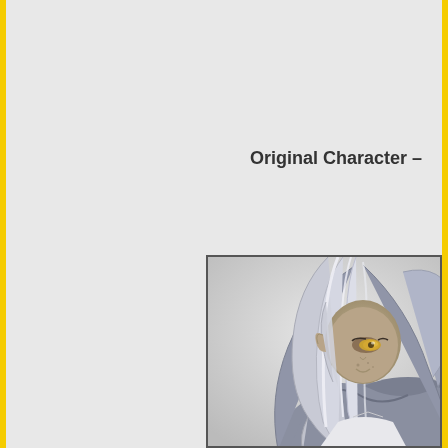Original Character –
[Figure (photo): Photograph of an anime-style figure/statue with long white-gray flowing hair, golden eyes, pointed ears, wearing a gray outfit, partially visible, against a light gray background. The figure is looking downward with hair covering part of the face.]